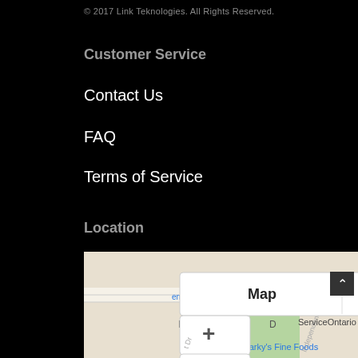© 2017 Link Teknologies. All Rights Reserved.
Customer Service
Contact Us
FAQ
Terms of Service
Location
[Figure (map): Google Maps embed showing a location pin near ServiceOntario with Map/Satellite toggle, zoom controls, and nearby businesses including Pet Ma(rt) Warehouse, Zarky's Fine Foods, and Cent(re).]